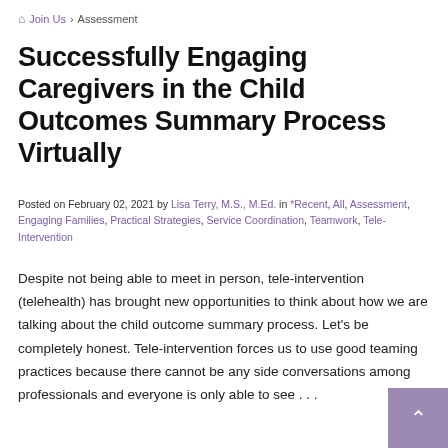🏠 Join Us > Assessment
Successfully Engaging Caregivers in the Child Outcomes Summary Process Virtually
Posted on February 02, 2021 by Lisa Terry, M.S., M.Ed. in *Recent, All, Assessment, Engaging Families, Practical Strategies, Service Coordination, Teamwork, Tele-Intervention
Despite not being able to meet in person, tele-intervention (telehealth) has brought new opportunities to think about how we are talking about the child outcome summary process. Let's be completely honest. Tele-intervention forces us to use good teaming practices because there cannot be any side conversations among professionals and everyone is only able to see . . .